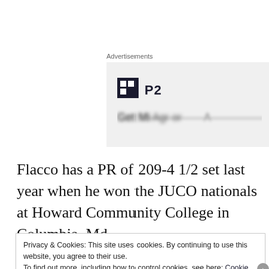Advertisements
[Figure (logo): Advertisement box with P2 logo (dark square icon with white squares and 'P2' text) on a light gray background, with blurred text below]
Flacco has a PR of 209-4 1/2 set last year when he won the JUCO nationals at Howard Community College in Columbia, Md.
Privacy & Cookies: This site uses cookies. By continuing to use this website, you agree to their use.
To find out more, including how to control cookies, see here: Cookie Policy
Close and accept